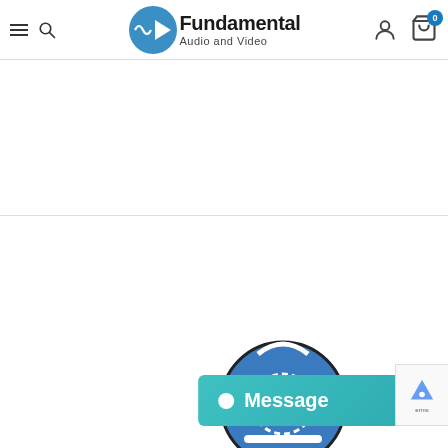Fundamental Audio and Video — website header with navigation icons and logo
[Figure (screenshot): Website screenshot of Fundamental Audio and Video e-commerce site. Header bar contains hamburger menu, search icon, logo with waveform/eye graphic and bold text 'Fundamental Audio and Video', user account icon, and shopping cart icon with badge '0'. Below header is a large white content area split by a horizontal divider. Bottom right corner shows partial WordPress logo, a teal 'Message' chat button with white dot icon, and a partial reCAPTCHA widget.]